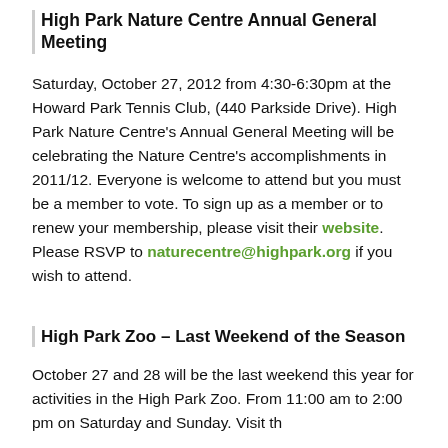High Park Nature Centre Annual General Meeting
Saturday, October 27, 2012 from 4:30-6:30pm at the Howard Park Tennis Club, (440 Parkside Drive). High Park Nature Centre's Annual General Meeting will be celebrating the Nature Centre's accomplishments in 2011/12. Everyone is welcome to attend but you must be a member to vote. To sign up as a member or to renew your membership, please visit their website. Please RSVP to naturecentre@highpark.org if you wish to attend.
High Park Zoo – Last Weekend of the Season
October 27 and 28 will be the last weekend this year for activities in the High Park Zoo. From 11:00 am to 2:00 pm on Saturday and Sunday. Visit th...